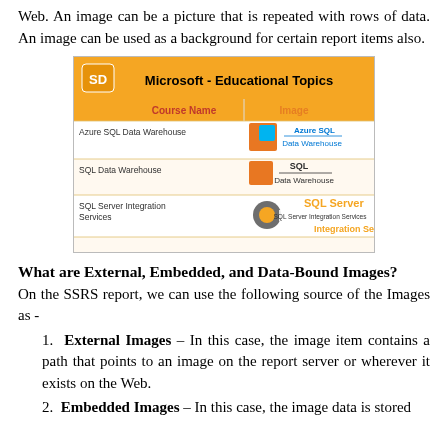Web. An image can be a picture that is repeated with rows of data. An image can be used as a background for certain report items also.
[Figure (screenshot): Screenshot of a Microsoft Educational Topics report showing a table with Course Name and Image columns. Rows include: Azure SQL Data Warehouse, SQL Data Warehouse, SQL Server Integration Services, SQL Server Reporting Services — each with corresponding product logos.]
What are External, Embedded, and Data-Bound Images?
On the SSRS report, we can use the following source of the Images as -
External Images – In this case, the image item contains a path that points to an image on the report server or wherever it exists on the Web.
Embedded Images – In this case, the image data is stored ...